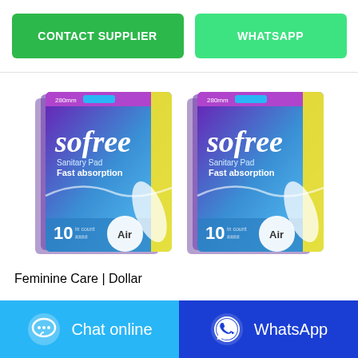CONTACT SUPPLIER
WHATSAPP
[Figure (photo): Two boxes of Sofree Sanitary Pad Fast Absorption products side by side, purple and blue gradient packaging with yellow accent, showing '10' count and 'Air' label]
Feminine Care | Dollar
Chat online
WhatsApp